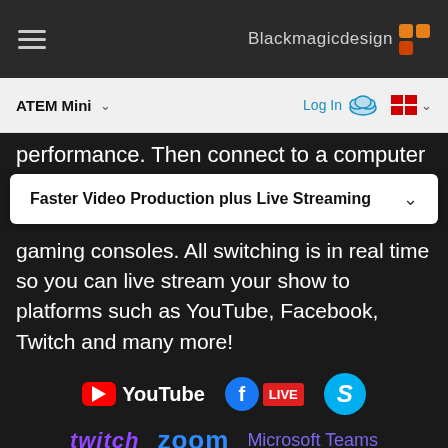Blackmagicdesign
ATEM Mini
performance. Then connect to a computer
Faster Video Production plus Live Streaming
gaming consoles. All switching is in real time so you can live stream your show to platforms such as YouTube, Facebook, Twitch and many more!
[Figure (logo): Platform logos: YouTube, Facebook Live, Skype, Twitch, Zoom, Microsoft Teams]
[Figure (photo): Bottom strip showing partial product/hardware images]